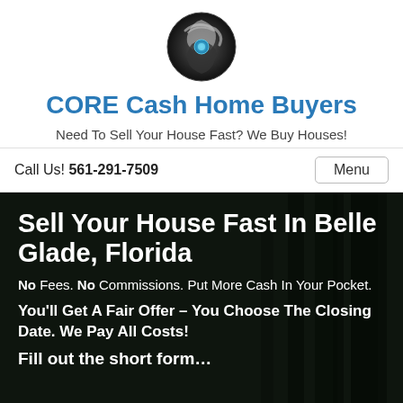[Figure (logo): Circular logo with swirling silver and blue design, central blue dot, on dark background]
CORE Cash Home Buyers
Need To Sell Your House Fast? We Buy Houses!
Call Us! 561-291-7509
Menu
Sell Your House Fast In Belle Glade, Florida
No Fees. No Commissions. Put More Cash In Your Pocket.
You'll Get A Fair Offer – You Choose The Closing Date. We Pay All Costs!
Fill out the short form…